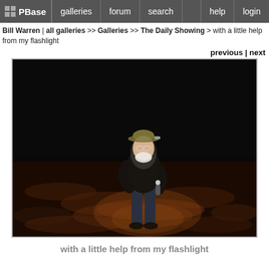PBase | galleries | forum | search | help | login
Bill Warren | all galleries >> Galleries >> The Daily Showing > with a little help from my flashlight
previous | next
[Figure (photo): Man standing outdoors at night on a leaf-covered ground, wearing a hat, dark jacket and jeans, holding a flashlight, illuminated against a dark forest background.]
with a little help from my flashlight